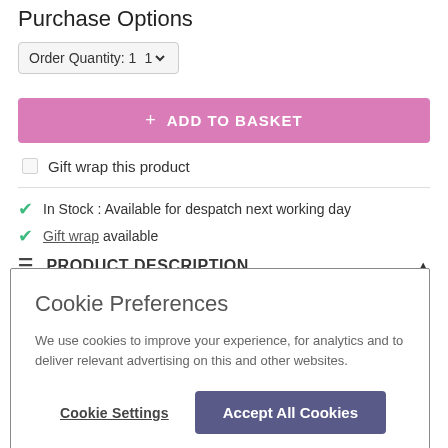Purchase Options
Order Quantity: 1
+ ADD TO BASKET
Gift wrap this product
In Stock : Available for despatch next working day
Gift wrap available
PRODUCT DESCRIPTION
Cookie Preferences
We use cookies to improve your experience, for analytics and to deliver relevant advertising on this and other websites.
Cookie Settings
Accept All Cookies